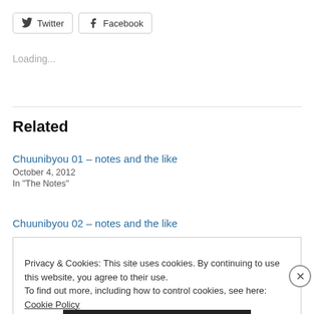[Figure (other): Twitter and Facebook social share buttons]
Loading...
Related
Chuunibyou 01 – notes and the like
October 4, 2012
In "The Notes"
Chuunibyou 02 – notes and the like
Privacy & Cookies: This site uses cookies. By continuing to use this website, you agree to their use.
To find out more, including how to control cookies, see here: Cookie Policy
Close and accept